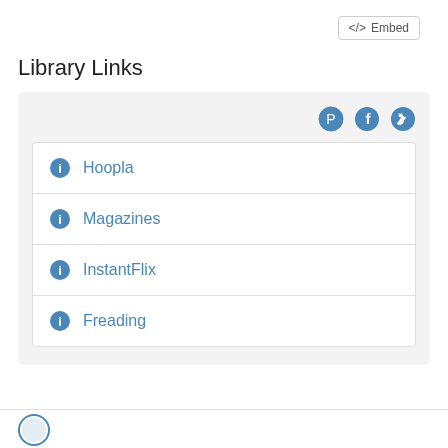Embed
Library Links
Hoopla
Magazines
InstantFlix
Freading